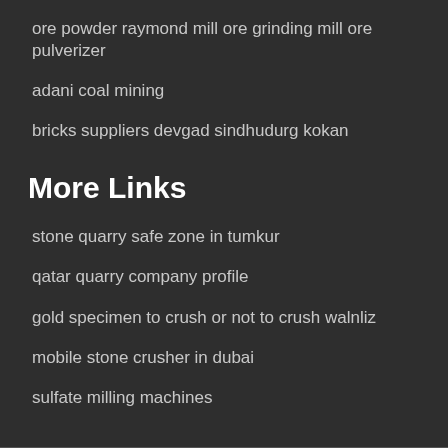ore powder raymond mill ore grinding mill ore pulverizer
adani coal mining
bricks suppliers devgad sindhudurg kokan
More Links
stone quarry safe zone in tumkur
qatar quarry company profile
gold specimen to crush or not to crush walnliz
mobile stone crusher in dubai
sulfate milling machines